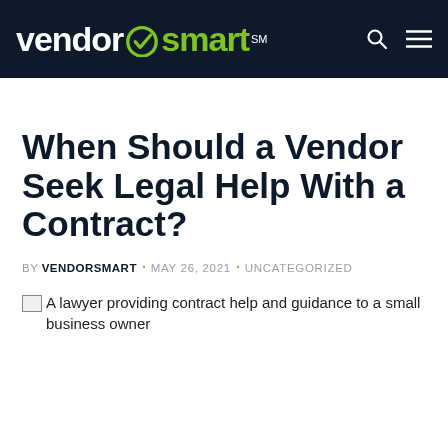vendor✓smart℠
When Should a Vendor Seek Legal Help With a Contract?
BY VENDORSMART · MAY 26, 2021 · UNCATEGORIZED
[Figure (photo): A lawyer providing contract help and guidance to a small business owner]